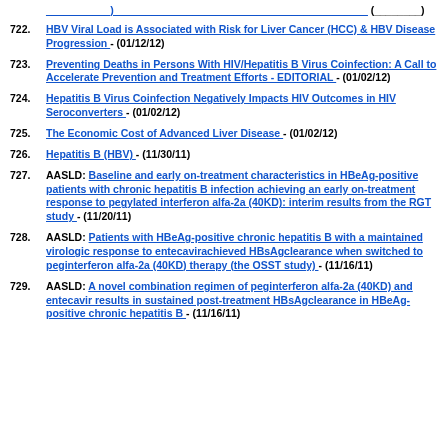722. HBV Viral Load is Associated with Risk for Liver Cancer (HCC) & HBV Disease Progression - (01/12/12)
723. Preventing Deaths in Persons With HIV/Hepatitis B Virus Coinfection: A Call to Accelerate Prevention and Treatment Efforts - EDITORIAL - (01/02/12)
724. Hepatitis B Virus Coinfection Negatively Impacts HIV Outcomes in HIV Seroconverters - (01/02/12)
725. The Economic Cost of Advanced Liver Disease - (01/02/12)
726. Hepatitis B (HBV) - (11/30/11)
727. AASLD: Baseline and early on-treatment characteristics in HBeAg-positive patients with chronic hepatitis B infection achieving an early on-treatment response to pegylated interferon alfa-2a (40KD): interim results from the RGT study - (11/20/11)
728. AASLD: Patients with HBeAg-positive chronic hepatitis B with a maintained virologic response to entecavirachieved HBsAgclearance when switched to peginterferon alfa-2a (40KD) therapy (the OSST study) - (11/16/11)
729. AASLD: A novel combination regimen of peginterferon alfa-2a (40KD) and entecavir results in sustained post-treatment HBsAgclearance in HBeAg-positive chronic hepatitis B - (11/16/11)